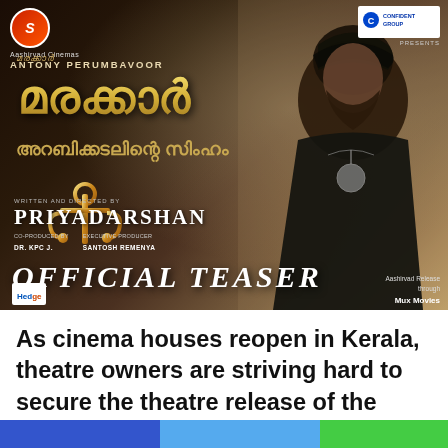[Figure (photo): Movie promotional banner/teaser poster for Malayalam film 'Marakkar: Arabikadalinte Simham' featuring the lead actor in costume with dark robes and a pendant, directed by Priyadarshan. The poster shows Malayalam title text, an anchor graphic, and text 'OFFICIAL TEASER'. Produced by Aashirvad Cinemas / Antony Perumbavoor. Presented by Confident Group.]
As cinema houses reopen in Kerala, theatre owners are striving hard to secure the theatre release of the Priyadarshan-directed mega movie Marakkar: